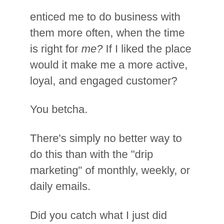enticed me to do business with them more often, when the time is right for me? If I liked the place would it make me a more active, loyal, and engaged customer?
You betcha.
There’s simply no better way to do this than with the “drip marketing” of monthly, weekly, or daily emails.
Did you catch what I just did there?
Hehe.
Cheeky indeed.
Here’s the best part…